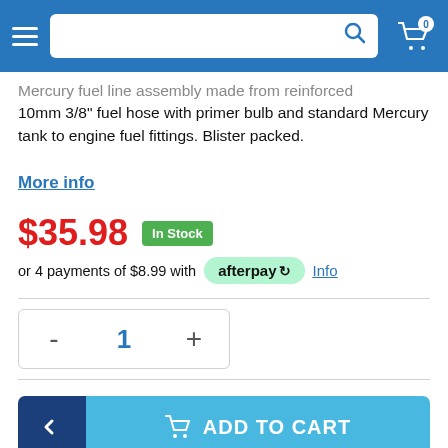Navigation bar with hamburger menu, search bar, and cart icon (0 items)
Mercury fuel line assembly made from reinforced 10mm 3/8" fuel hose with primer bulb and standard Mercury tank to engine fuel fittings. Blister packed.
More info
$35.98  In Stock
or 4 payments of $8.99 with afterpay  Info
- 1 +
ADD TO CART